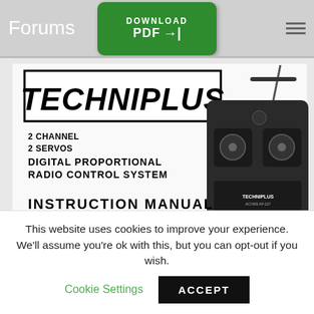Forums PDF →| s  [hamburger menu]
[Figure (screenshot): Green Download PDF button with arrow icon overlaid on the header bar]
[Figure (photo): Cover of TECHNIPLUS Instruction Manual for ACOMS AP-227 MkII 2 Channel 2 Servos Digital Proportional Radio Control System, showing the RC transmitter unit]
This website uses cookies to improve your experience. We'll assume you're ok with this, but you can opt-out if you wish.
Cookie Settings   ACCEPT